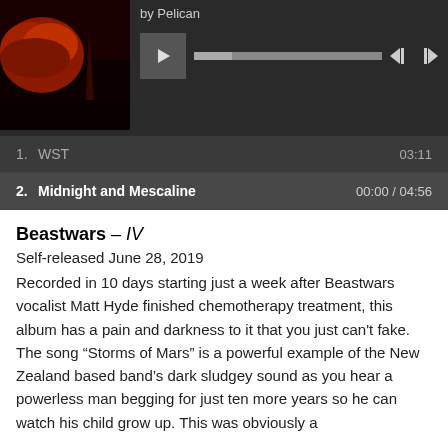[Figure (screenshot): Music player widget showing album art (dark red volcanic/rocky image) for Pelican, with play controls, progress bar, and track listing. Track 1: WST 03:11, Track 2 (active): Midnight and Mescaline 00:00 / 04:56]
Beastwars – IV
Self-released June 28, 2019
Recorded in 10 days starting just a week after Beastwars vocalist Matt Hyde finished chemotherapy treatment, this album has a pain and darkness to it that you just can't fake. The song “Storms of Mars” is a powerful example of the New Zealand based band’s dark sludgey sound as you hear a powerless man begging for just ten more years so he can watch his child grow up. This was obviously a